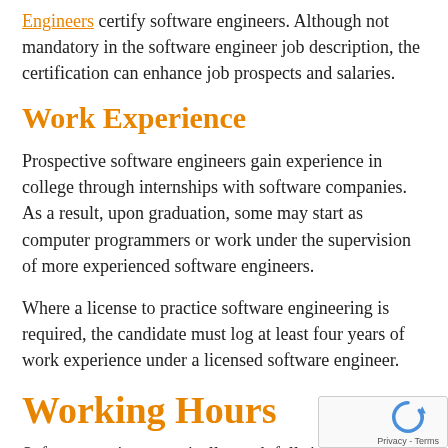Engineers certify software engineers. Although not mandatory in the software engineer job description, the certification can enhance job prospects and salaries.
Work Experience
Prospective software engineers gain experience in college through internships with software companies. As a result, upon graduation, some may start as computer programmers or work under the supervision of more experienced software engineers.
Where a license to practice software engineering is required, the candidate must log at least four years of work experience under a licensed software engineer.
Working Hours
Software engineers typically work full-time and b... regular office hours. In many cases, schedules are